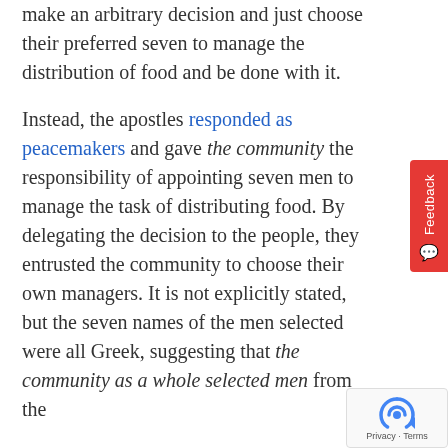make an arbitrary decision and just choose their preferred seven to manage the distribution of food and be done with it.
Instead, the apostles responded as peacemakers and gave the community the responsibility of appointing seven men to manage the task of distributing food. By delegating the decision to the people, they entrusted the community to choose their own managers. It is not explicitly stated, but the seven names of the men selected were all Greek, suggesting that the community as a whole selected men from the